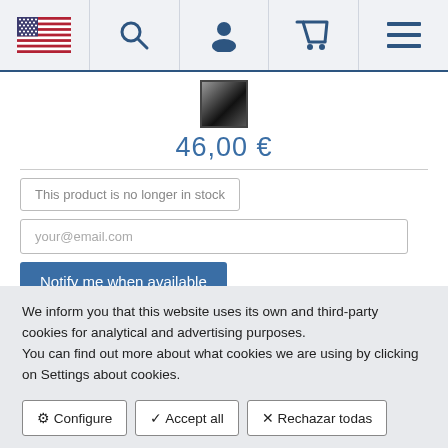Navigation bar with US flag, search, user, cart, and menu icons
[Figure (photo): Small product thumbnail image, dark/black colored item]
46,00 €
This product is no longer in stock
your@email.com
Notify me when available
We inform you that this website uses its own and third-party cookies for analytical and advertising purposes.
You can find out more about what cookies we are using by clicking on Settings about cookies.
⚙ Configure
✔ Accept all
✕ Rechazar todas